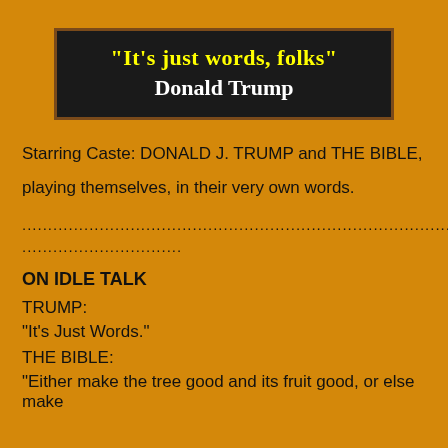"It's just words, folks" Donald Trump
Starring Caste: DONALD J. TRUMP and THE BIBLE, playing themselves, in their very own words.
...............................................................................................................
...............................
ON IDLE TALK
TRUMP:
"It's Just Words."
THE BIBLE:
"Either make the tree good and its fruit good, or else make